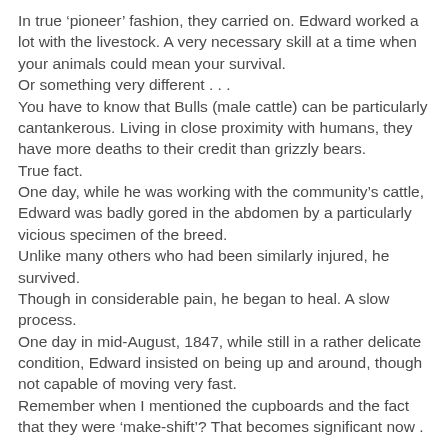In true ‘pioneer’ fashion, they carried on. Edward worked a lot with the livestock. A very necessary skill at a time when your animals could mean your survival.
Or something very different . . .
You have to know that Bulls (male cattle) can be particularly cantankerous. Living in close proximity with humans, they have more deaths to their credit than grizzly bears.
True fact.
One day, while he was working with the community’s cattle, Edward was badly gored in the abdomen by a particularly vicious specimen of the breed.
Unlike many others who had been similarly injured, he survived.
Though in considerable pain, he began to heal. A slow process.
One day in mid-August, 1847, while still in a rather delicate condition, Edward insisted on being up and around, though not capable of moving very fast.
Remember when I mentioned the cupboards and the fact that they were ‘make-shift’? That becomes significant now . . .
One of the cupboards started pulling away from the wall,